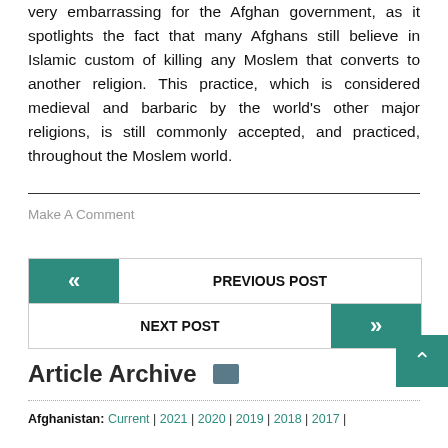very embarrassing for the Afghan government, as it spotlights the fact that many Afghans still believe in Islamic custom of killing any Moslem that converts to another religion. This practice, which is considered medieval and barbaric by the world's other major religions, is still commonly accepted, and practiced, throughout the Moslem world.
Make A Comment
PREVIOUS POST
NEXT POST
Article Archive
Afghanistan: Current | 2021 | 2020 | 2019 | 2018 | 2017 |